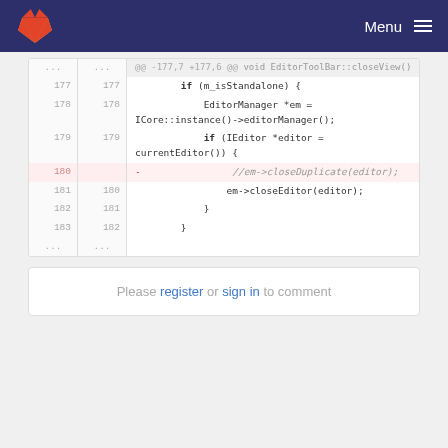GitLab — Menu
[Figure (screenshot): Code diff view showing lines 177-183 with line 180 deleted (//em->closeDuplicate(editor);). Context: EditorToolBar::closeView() function.]
Please register or sign in to comment